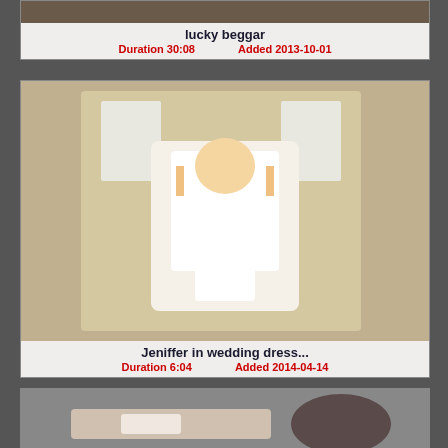[Figure (photo): Thumbnail image for video 'lucky beggar']
lucky beggar
Duration 30:08   Added 2013-10-01
[Figure (photo): Thumbnail image for video 'Jeniffer in wedding dress...' showing a person in a white wedding dress]
Jeniffer in wedding dress...
Duration 6:04   Added 2014-04-14
[Figure (photo): Thumbnail image for a third video, partially visible]